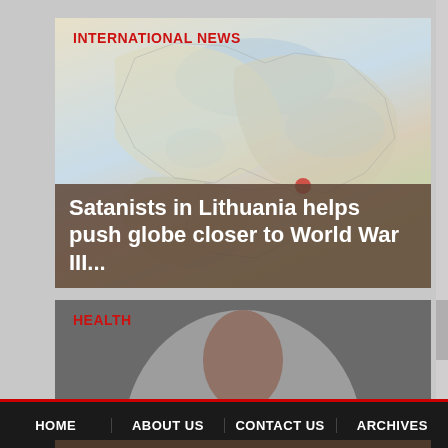[Figure (screenshot): News website screenshot showing two article cards with category labels, headline overlays, and a navigation bar at bottom]
INTERNATIONAL NEWS
Satanists in Lithuania helps push globe closer to World War III...
HEALTH
7 of the worst COVID-19 vaccine reactions the satanists cover-up...
HOME   ABOUT US   CONTACT US   ARCHIVES